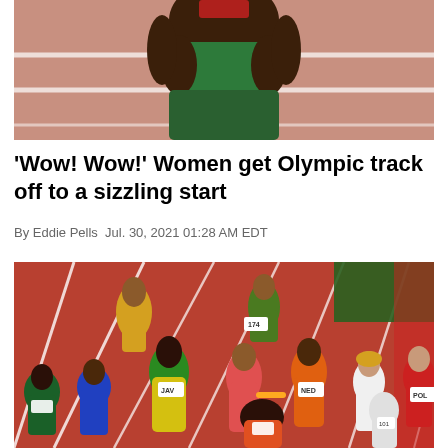[Figure (photo): Close-up of athlete torso in green and yellow Olympic uniform on a pink/red track background]
'Wow! Wow!' Women get Olympic track off to a sizzling start
By Eddie Pells Jul. 30, 2021 01:28 AM EDT
[Figure (photo): Aerial view of women relay runners passing batons on Olympic track, with athletes from Jamaica (JAV), Netherlands (NED), Poland (POL) and other countries visible on a red track in Tokyo 2021]